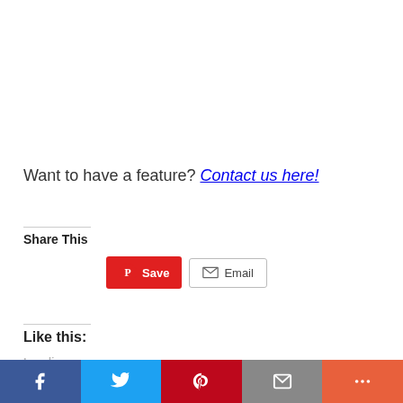Want to have a feature? Contact us here!
Share This
[Figure (screenshot): Pinterest Save button and Email share button]
Like this:
Loading
[Figure (screenshot): Bottom social sharing bar with Facebook, Twitter, Pinterest, Email, and More buttons]